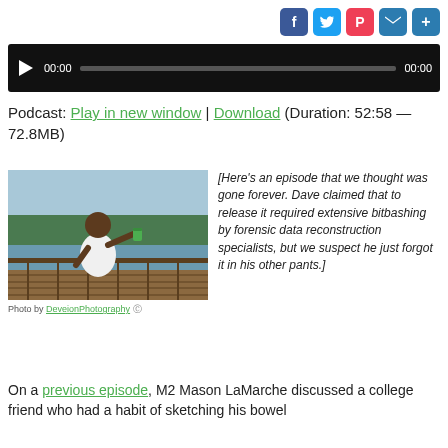[Figure (screenshot): Social share buttons: Facebook (blue), Twitter (blue), Pocket (red), Email (blue), Share (blue)]
[Figure (screenshot): Audio player with play button, 00:00 start time, progress bar, 00:00 end time on black background]
Podcast: Play in new window | Download (Duration: 52:58 — 72.8MB)
[Figure (photo): Man on a wooden deck near a lake, holding a green can, appearing to toss it. Trees and water in background.]
Photo by DeveionPhotography (cc)
[Here's an episode that we thought was gone forever. Dave claimed that to release it required extensive bitbashing by forensic data reconstruction specialists, but we suspect he just forgot it in his other pants.]
On a previous episode, M2 Mason LaMarche discussed a college friend who had a habit of sketching his bowel